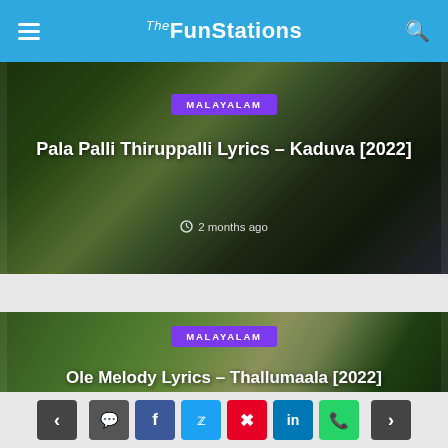TheFunStations
[Figure (photo): Card image for Pala Palli Thiruppalli Lyrics article with MALAYALAM tag label]
Pala Palli Thiruppalli Lyrics – Kaduva [2022]
2 months ago
[Figure (photo): Card image for Ole Melody Lyrics article with MALAYALAM tag label]
Ole Melody Lyrics – Thallumaala [2022]
Navigation bar with social share buttons: comment, facebook, twitter, pinterest, linkedin, whatsapp